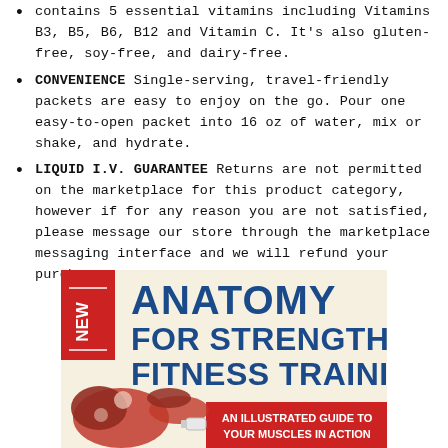contains 5 essential vitamins including Vitamins B3, B5, B6, B12 and Vitamin C. It's also gluten-free, soy-free, and dairy-free.
CONVENIENCE Single-serving, travel-friendly packets are easy to enjoy on the go. Pour one easy-to-open packet into 16 oz of water, mix or shake, and hydrate.
LIQUID I.V. GUARANTEE Returns are not permitted on the marketplace for this product category, however if for any reason you are not satisfied, please message our store through the marketplace messaging interface and we will refund your purchase.
[Figure (illustration): Book cover for 'Anatomy for Strength & Fitness Training: An Illustrated Guide to Your Muscles in Action' with a red 'NEW' badge, blue title text on cream background, and anatomical muscle illustrations of a figure performing an exercise.]